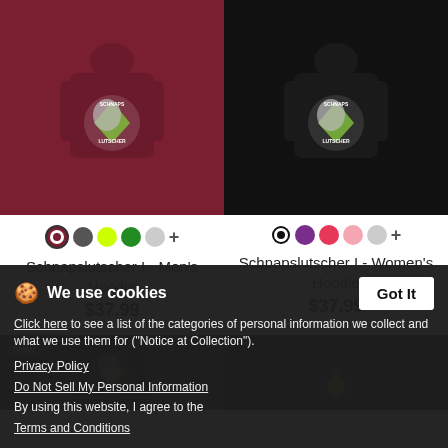[Figure (photo): Back of maroon/burgundy hoodie with Schnapslutscher graphic design]
[Figure (photo): Back of black women's hoodie with Schnapslutscher graphic design]
Schnapslutscher I - Men's Hoodie
$37.99
Schnapslutscher I - Women's Hoodie
$37.99
[Figure (photo): Black t-shirt partial view with Schnapslutscher graphic, New badge]
[Figure (photo): Black tank top partial view with Schnapslutscher graphic]
We use cookies
Click here to see a list of the categories of personal information we collect and what we use them for ("Notice at Collection").
Privacy Policy
Do Not Sell My Personal Information
By using this website, I agree to the Terms and Conditions